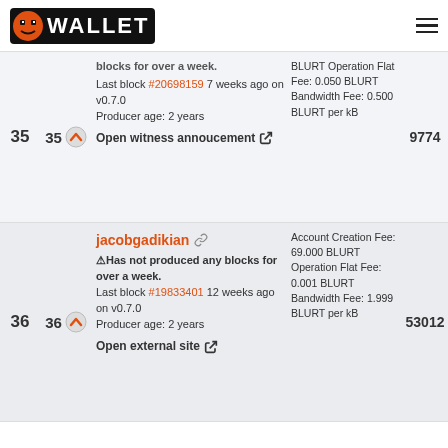BLURT WALLET
blocks for over a week. Last block #20698159 7 weeks ago on v0.7.0 Producer age: 2 years Open witness annoucement
BLURT Operation Flat Fee: 0.050 BLURT Bandwidth Fee: 0.500 BLURT per kB
35  35  9774
jacobgadikian ⚠Has not produced any blocks for over a week. Last block #19833401 12 weeks ago on v0.7.0 Producer age: 2 years Open external site
Account Creation Fee: 69.000 BLURT Operation Flat Fee: 0.001 BLURT Bandwidth Fee: 1.999 BLURT per kB
36  36  53012